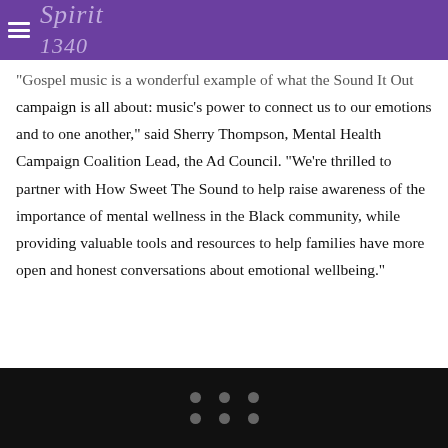Spirit 1340 (logo/navigation header)
"Gospel music is a wonderful example of what the Sound It Out campaign is all about: music’s power to connect us to our emotions and to one another,” said Sherry Thompson, Mental Health Campaign Coalition Lead, the Ad Council. “We’re thrilled to partner with How Sweet The Sound to help raise awareness of the importance of mental wellness in the Black community, while providing valuable tools and resources to help families have more open and honest conversations about emotional wellbeing.”
navigation dots